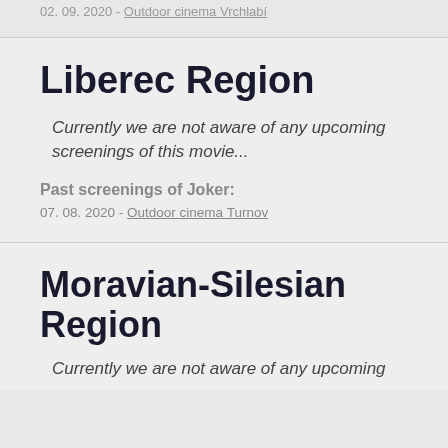02. 09. 2020 - Outdoor cinema Vrchlabí
Liberec Region
Currently we are not aware of any upcoming screenings of this movie...
Past screenings of Joker:
07. 08. 2020 - Outdoor cinema Turnov
Moravian-Silesian Region
Currently we are not aware of any upcoming